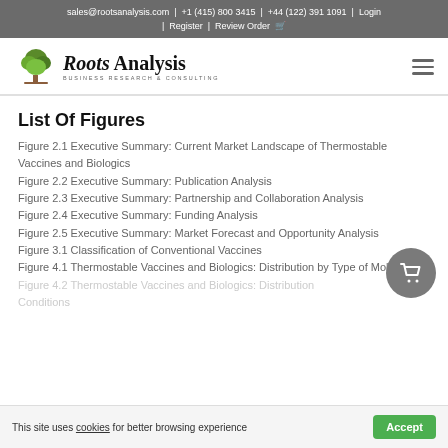sales@rootsanalysis.com | +1 (415) 800 3415 | +44 (122) 391 1091 | Login | Register | Review Order
[Figure (logo): Roots Analysis logo with tree graphic and text 'Roots Analysis - Business Research & Consulting']
List Of Figures
Figure 2.1 Executive Summary: Current Market Landscape of Thermostable Vaccines and Biologics
Figure 2.2 Executive Summary: Publication Analysis
Figure 2.3 Executive Summary: Partnership and Collaboration Analysis
Figure 2.4 Executive Summary: Funding Analysis
Figure 2.5 Executive Summary: Market Forecast and Opportunity Analysis
Figure 3.1 Classification of Conventional Vaccines
Figure 4.1 Thermostable Vaccines and Biologics: Distribution by Type of Molecule
Figure 4.2 Thermostable Vaccines and Biologics: Distribution by Conditions
This site uses cookies for better browsing experience